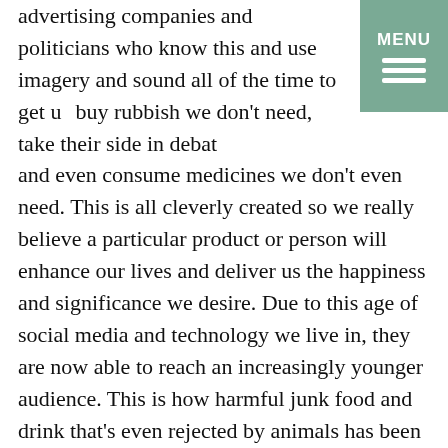advertising companies and politicians who know this and use imagery and sound all of the time to get us buy rubbish we don't need, take their side in debates and even consume medicines we don't even need. This is all cleverly created so we really believe a particular product or person will enhance our lives and deliver us the happiness and significance we desire. Due to this age of social media and technology we live in, they are now able to reach an increasingly younger audience. This is how harmful junk food and drink that's even rejected by animals has been able to effectively spread to our children all over the world due to this clever marketing. Shame on them.
We create thoughts determined by what we see and hear. We need to ask ourselves is it true? Can we be absolutely certain what we are being told or what we see are an absolute 100% truth? If we are honest the answer is no. Let us refrain from this instant reactional
[Figure (other): MENU button with three horizontal lines, teal/green background, top right corner]